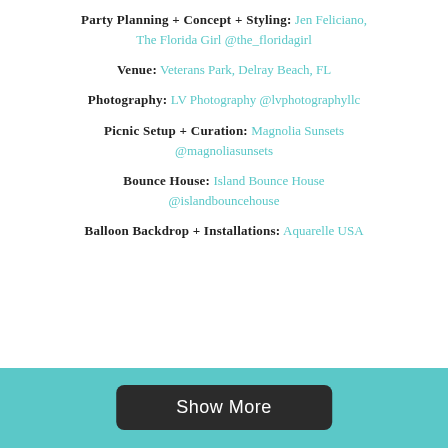Party Planning + Concept + Styling: Jen Feliciano, The Florida Girl @the_floridagirl
Venue: Veterans Park, Delray Beach, FL
Photography: LV Photography @lvphotographyllc
Picnic Setup + Curation: Magnolia Sunsets @magnoliasunsets
Bounce House: Island Bounce House @islandbouncehouse
Balloon Backdrop + Installations: Aquarelle USA
Show More